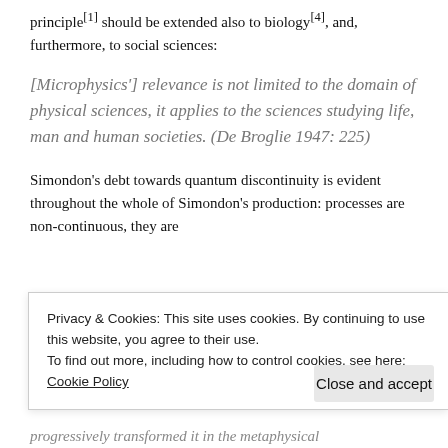principle[1] should be extended also to biology[4], and, furthermore, to social sciences:
[Microphysics'] relevance is not limited to the domain of physical sciences, it applies to the sciences studying life, man and human societies. (De Broglie 1947: 225)
Simondon's debt towards quantum discontinuity is evident throughout the whole of Simondon's production: processes are non-continuous, they are
Privacy & Cookies: This site uses cookies. By continuing to use this website, you agree to their use.
To find out more, including how to control cookies, see here: Cookie Policy
progressively transformed it in the metaphysical